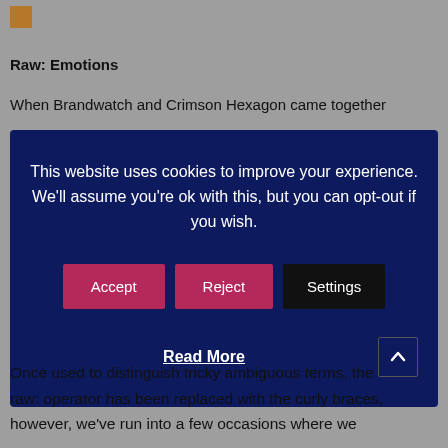[Figure (other): Small orange/brown square icon in the top-left corner]
Raw: Emotions
When Brandwatch and Crimson Hexagon came together
This website uses cookies to improve your experience. We'll assume you're ok with this, but you can opt-out if you wish. [Accept] [Reject] [Settings] Read More
Once used to distinguish tricky ambiguous terms, the raw: operator has been replaced with the curly braces, however, we've run into a few occasions where we